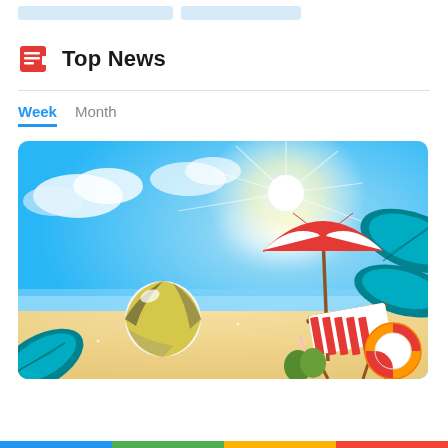[Figure (other): Two light blue rounded button/bar placeholders at the top of the page]
Top News
Week   Month
[Figure (illustration): Beach summer scene illustration with blue sky, clouds, sun rays, teal tropical leaves, volleyball, beach umbrella (red and white), striped beach chair, coconuts, and life ring on sandy beach]